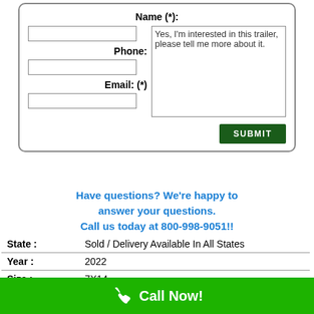[Figure (other): Contact form with Name, Phone, Email fields, a textarea pre-filled with 'Yes, I'm interested in this trailer, please tell me more about it.', and a SUBMIT button]
Have questions? We're happy to answer your questions. Call us today at 800-998-9051!!
| State : | Sold / Delivery Available In All States |
| Year : | 2022 |
| Size : | 7X14 |
Call Now!